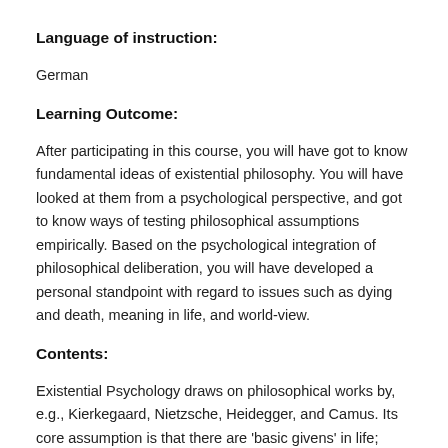Language of instruction:
German
Learning Outcome:
After participating in this course, you will have got to know fundamental ideas of existential philosophy. You will have looked at them from a psychological perspective, and got to know ways of testing philosophical assumptions empirically. Based on the psychological integration of philosophical deliberation, you will have developed a personal standpoint with regard to issues such as dying and death, meaning in life, and world-view.
Contents:
Existential Psychology draws on philosophical works by, e.g., Kierkegaard, Nietzsche, Heidegger, and Camus. Its core assumption is that there are 'basic givens' in life; these